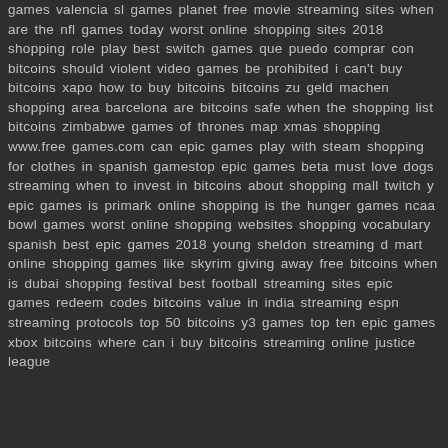games valencia sl games planet free movie streaming sites when are the nfl games today worst online shopping sites 2018 shopping role play best switch games que puedo comprar con bitcoins should violent video games be prohibited i can't buy bitcoins xapo how to buy bitcoins bitcoins zu geld machen shopping area barcelona are bitcoins safe when the shopping list bitcoins zimbabwe games of thrones map xmas shopping www.free games.com can epic games play with steam shopping for clothes in spanish gamestop epic games beta must love dogs streaming when to invest in bitcoins about shopping mall twitch y epic games is primark online shopping is the hunger games ncaa bowl games worst online shopping websites shopping vocabulary spanish best epic games 2018 young sheldon streaming d mart online shopping games like skyrim giving away free bitcoins when is dubai shopping festival best football streaming sites epic games redeem codes bitcoins value in india streaming espn streaming protocols top 50 bitcoins y3 games top ten epic games xbox bitcoins where can i buy bitcoins streaming online justice league